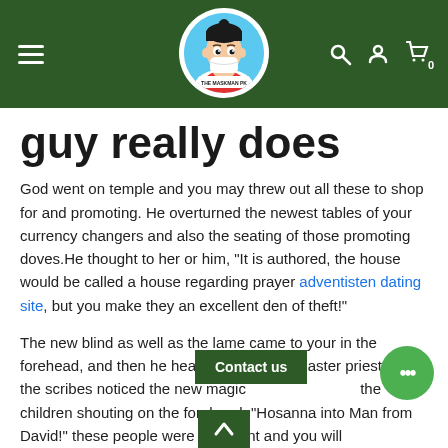[Figure (logo): The Maskman PK website header with dark green background, hamburger menu icon on left, circular logo in center showing a cartoon character wearing a face mask with 'THE MASKMAN PK' text, and search, user, and cart icons on right]
guy really does
God went on temple and you may threw out all these to shop for and promoting. He overturned the newest tables of your currency changers and also the seating of those promoting doves.He thought to her or him, “It is authored, the house would be called a house regarding prayer adventisten dating site, but you make they an excellent den of theft!”
The new blind as well as the lame came to your in the forehead, and then he healed them.If the master priests plus the scribes noticed the new magic the children shouting on the forehead, “Hosanna into Man from David!” these people were indignant and you will